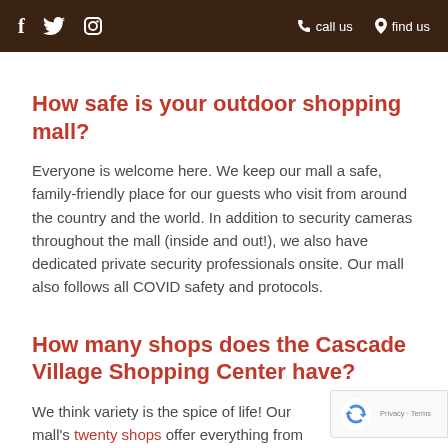f  twitter  instagram  call us  find us
How safe is your outdoor shopping mall?
Everyone is welcome here. We keep our mall a safe, family-friendly place for our guests who visit from around the country and the world. In addition to security cameras throughout the mall (inside and out!), we also have dedicated private security professionals onsite. Our mall also follows all COVID safety and protocols.
How many shops does the Cascade Village Shopping Center have?
We think variety is the spice of life! Our mall's twenty shops offer everything from home furnishings and